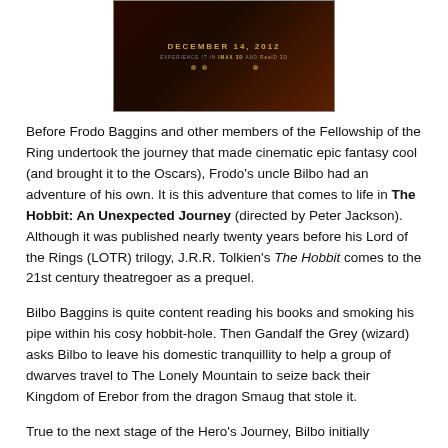[Figure (photo): Movie poster for The Hobbit: An Unexpected Journey showing dark background with 'DECEMBER 14, 2012' in gold text and small decorative icons]
Before Frodo Baggins and other members of the Fellowship of the Ring undertook the journey that made cinematic epic fantasy cool (and brought it to the Oscars), Frodo’s uncle Bilbo had an adventure of his own. It is this adventure that comes to life in The Hobbit: An Unexpected Journey (directed by Peter Jackson). Although it was published nearly twenty years before his Lord of the Rings (LOTR) trilogy, J.R.R. Tolkien’s The Hobbit comes to the 21st century theatregoer as a prequel.
Bilbo Baggins is quite content reading his books and smoking his pipe within his cosy hobbit-hole. Then Gandalf the Grey (wizard) asks Bilbo to leave his domestic tranquillity to help a group of dwarves travel to The Lonely Mountain to seize back their Kingdom of Erebor from the dragon Smaug that stole it.
True to the next stage of the Hero’s Journey, Bilbo initially